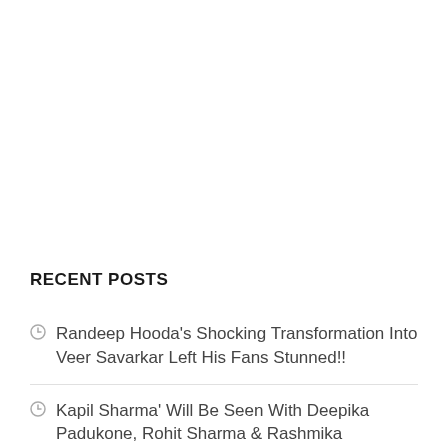RECENT POSTS
Randeep Hooda's Shocking Transformation Into Veer Savarkar Left His Fans Stunned!!
Kapil Sharma' Will Be Seen With Deepika Padukone, Rohit Sharma & Rashmika Mandanna